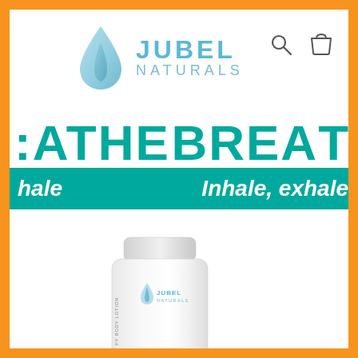[Figure (logo): Jubel Naturals logo with water drop icon, teal text JUBEL NATURALS, search and cart icons]
EATHE  BREAT
Inhale  Inhale, exhale
[Figure (photo): White tube product of Jubel Naturals body lotion with teal and white branding, partially visible label text]